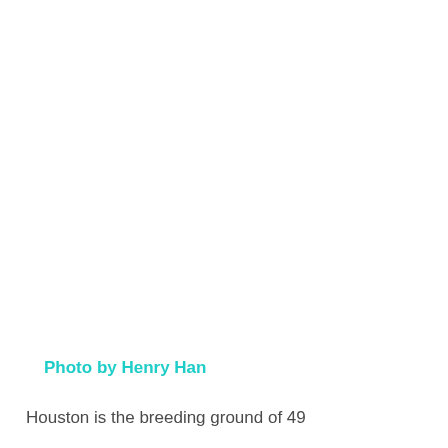Photo by Henry Han
Houston is the breeding ground of 49